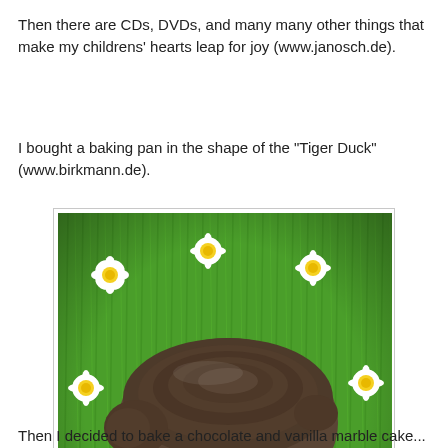Then there are CDs, DVDs, and many many other things that make my childrens' hearts leap for joy (www.janosch.de).
I bought a baking pan in the shape of the "Tiger Duck" (www.birkmann.de).
[Figure (photo): A dark brown duck-shaped baking pan placed on artificial green grass with white daisy flowers around it.]
Then I decided to bake a chocolate and vanilla marble cake...